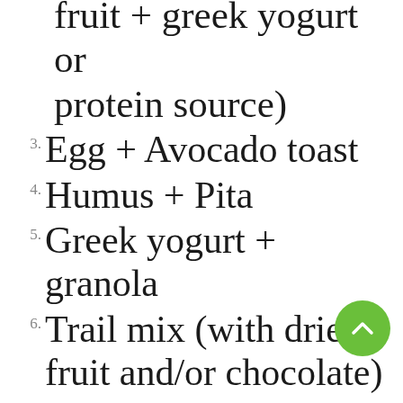fruit + greek yogurt or protein source)
3. Egg + Avocado toast
4. Humus + Pita
5. Greek yogurt + granola
6. Trail mix (with dried fruit and/or chocolate)
7. Oatmeal + nuts and/or seeds
8. Peanut butter + jelly on whole wheat bread
9. Apple + Cheese